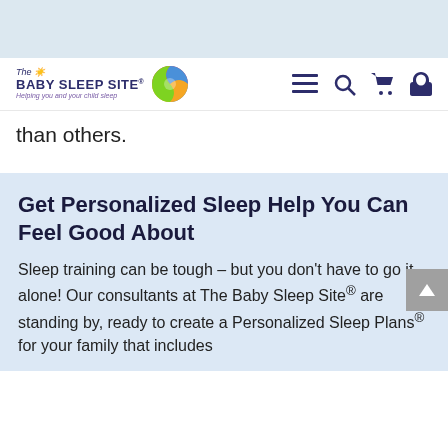[Figure (logo): The Baby Sleep Site logo with colorful ball and tagline 'Helping you and your child sleep']
than others.
Get Personalized Sleep Help You Can Feel Good About
Sleep training can be tough – but you don't have to go it alone! Our consultants at The Baby Sleep Site® are standing by, ready to create a Personalized Sleep Plans® for your family that includes